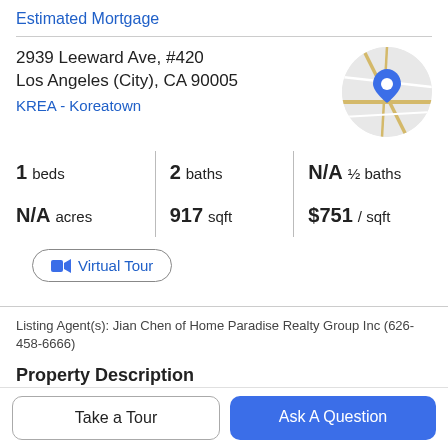Estimated Mortgage
2939 Leeward Ave, #420
Los Angeles (City), CA 90005
KREA - Koreatown
[Figure (map): Circular map thumbnail with a blue location pin marker]
1 beds  |  2 baths  |  N/A ½ baths
N/A acres  |  917 sqft  |  $751 / sqft
Virtual Tour
Listing Agent(s): Jian Chen of Home Paradise Realty Group Inc (626-458-6666)
Property Description
Take a Tour
Ask A Question
of 1 Bedroom, 2 Bedrooms and  Bedrooms floor plans